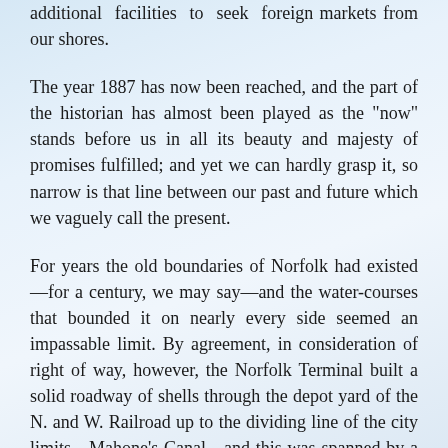additional facilities to seek foreign markets from our shores.
The year 1887 has now been reached, and the part of the historian has almost been played as the "now" stands before us in all its beauty and majesty of promises fulfilled; and yet we can hardly grasp it, so narrow is that line between our past and future which we vaguely call the present.
For years the old boundaries of Norfolk had existed—for a century, we may say—and the water-courses that bounded it on nearly every side seemed an impassable limit. By agreement, in consideration of right of way, however, the Norfolk Terminal built a solid roadway of shells through the depot yard of the N. and W. Railroad up to the dividing line of the city limits—Mahone's Canal—and this was spanned by a substantial bridge, which soon made this route the favorite thoroughfare to those going out to or coming in from Brambleton and the